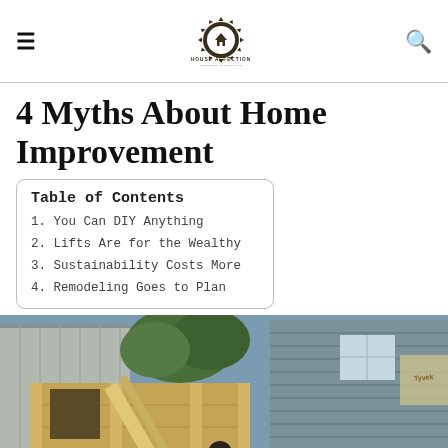House Affection
4 Myths About Home Improvement
Table of Contents
1. You Can DIY Anything
2. Lifts Are for the Wealthy
3. Sustainability Costs More
4. Remodeling Goes to Plan
[Figure (photo): Construction workers framing a building addition with wood studs and OSB sheathing, with a house visible in the background]